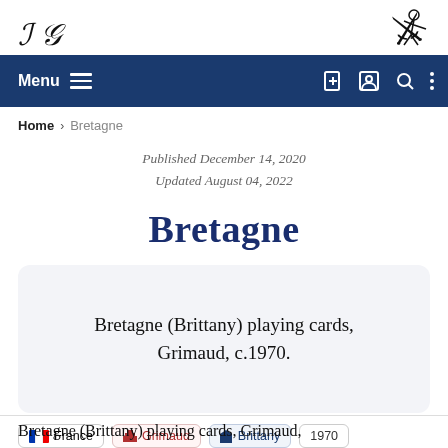[Figure (logo): Website logo with stylized cursive text on left and illustrated emblem on right]
Menu navigation bar with icons for new page, user, search, and more options
Home › Bretagne
Published December 14, 2020
Updated August 04, 2022
Bretagne
Bretagne (Brittany) playing cards, Grimaud, c.1970.
France  Grimaud  Brittany  1970
Bretagne (Brittany) playing cards, Grimaud,